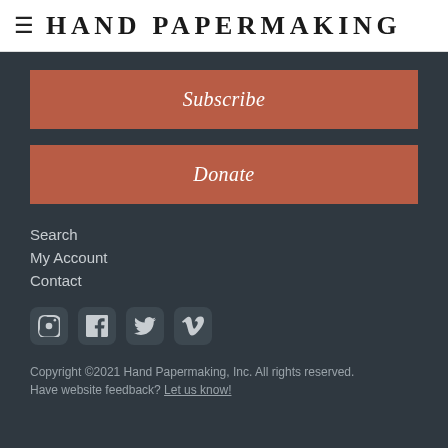HAND PAPERMAKING
Subscribe
Donate
Search
My Account
Contact
[Figure (other): Social media icons: Instagram, Facebook, Twitter, Vimeo]
Copyright ©2021 Hand Papermaking, Inc. All rights reserved.
Have website feedback? Let us know!